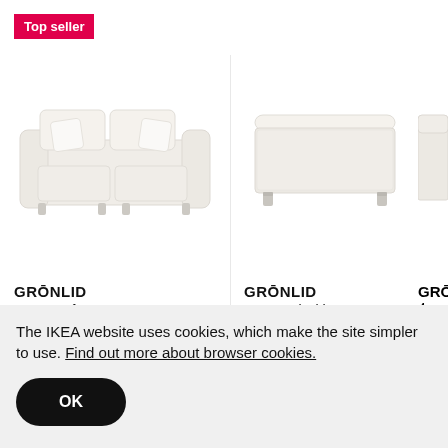Top seller
[Figure (photo): GRÖNLID 3-seat sofa in white/light beige fabric, front view]
[Figure (photo): GRÖNLID Footstool with storage in white/light beige fabric, front view]
[Figure (photo): GRÖNLID 4-seat sofa with chaise longue, partially visible]
GRÖNLID
3-seat sofa
Dhs 2,845
More options
GRÖNLID
Footstool with storage
Dhs 745
More options
GRÖ
4-s
lon
Dhs
The IKEA website uses cookies, which make the site simpler to use. Find out more about browser cookies.
OK